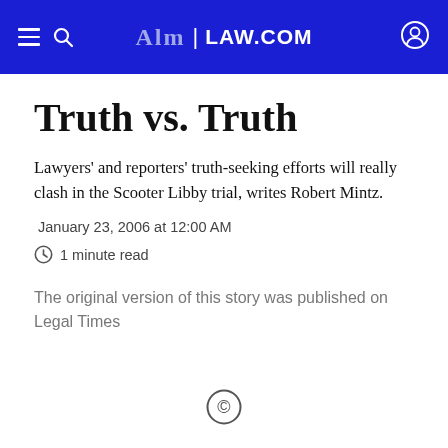ALM | LAW.COM
Truth vs. Truth
Lawyers' and reporters' truth-seeking efforts will really clash in the Scooter Libby trial, writes Robert Mintz.
January 23, 2006 at 12:00 AM
1 minute read
The original version of this story was published on Legal Times